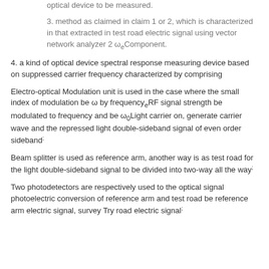optical device to be measured.
3. method as claimed in claim 1 or 2, which is characterized in that extracted in test road electric signal using vector network analyzer 2 ωeComponent.
4. a kind of optical device spectral response measuring device based on suppressed carrier frequency characterized by comprising
Electro-optical Modulation unit is used in the case where the small index of modulation be ω by frequencyeRF signal strength be modulated to frequency and be ω0Light carrier on, generate carrier wave and the repressed light double-sideband signal of even order sideband;
Beam splitter is used as reference arm, another way is as test road for the light double-sideband signal to be divided into two-way all the way;
Two photodetectors are respectively used to the optical signal photoelectric conversion of reference arm and test road be reference arm electric signal, survey Try road electric signal;